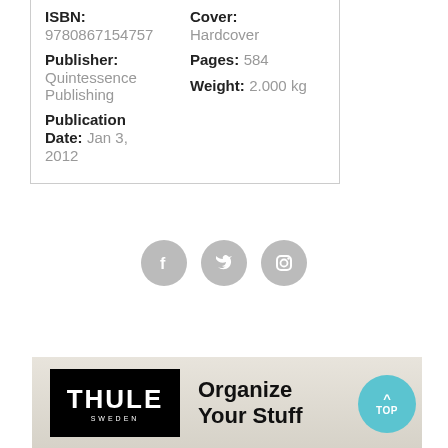| Field | Value |
| --- | --- |
| ISBN: | 9780867154757 |
| Cover: | Hardcover |
| Publisher: | Quintessence Publishing |
| Pages: | 584 |
| Weight: | 2.000 kg |
| Publication Date: | Jan 3, 2012 |
[Figure (illustration): Three social media icons (Facebook, Twitter, Instagram) as grey circles]
[Figure (illustration): Thule advertisement banner with Thule logo on black background and text 'Organize Your Stuff']
[Figure (other): Circular teal/cyan button with upward arrow and text 'TOP']